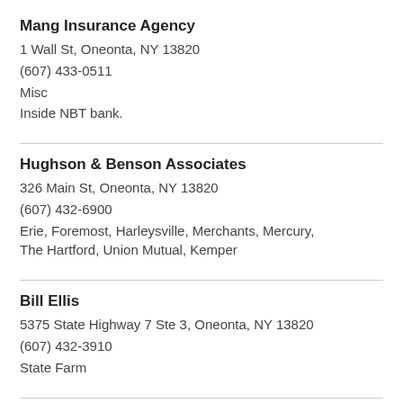Mang Insurance Agency
1 Wall St, Oneonta, NY 13820
(607) 433-0511
Misc
Inside NBT bank.
Hughson & Benson Associates
326 Main St, Oneonta, NY 13820
(607) 432-6900
Erie, Foremost, Harleysville, Merchants, Mercury, The Hartford, Union Mutual, Kemper
Bill Ellis
5375 State Highway 7 Ste 3, Oneonta, NY 13820
(607) 432-3910
State Farm